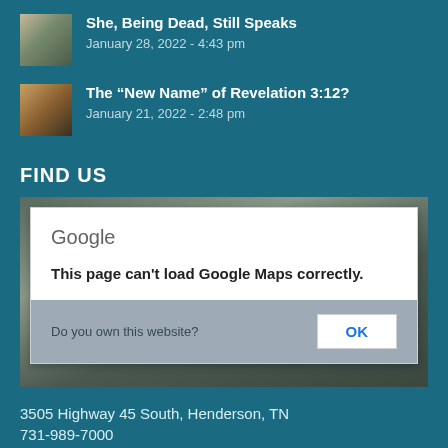She, Being Dead, Still Speaks
January 28, 2022 - 4:43 pm
The “New Name” of Revelation 3:12?
January 21, 2022 - 2:48 pm
FIND US
[Figure (screenshot): Google Maps area showing a Google dialog box: 'This page can't load Google Maps correctly.' with a footer bar asking 'Do you own this website?' and an OK button.]
3505 Highway 45 South, Henderson, TN
731-989-7000